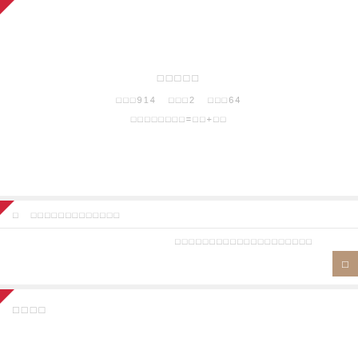□□□□□
□□□914  □□□2  □□□64
□  □□□□□□□□□□□□□
□□□□□□□□□□□□□□□□□□□□
□□□□